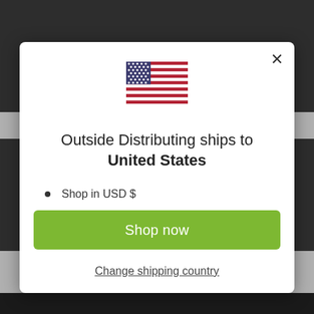[Figure (illustration): US flag emoji/icon centered in modal]
Outside Distributing ships to United States
Shop in USD $
Get shipping options for United States
Shop now
Change shipping country